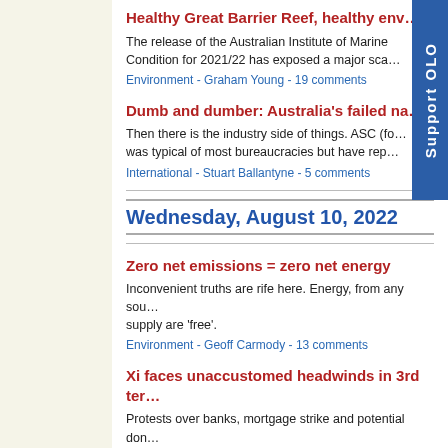Healthy Great Barrier Reef, healthy env…
The release of the Australian Institute of Marine Condition for 2021/22 has exposed a major sca…
Environment - Graham Young - 19 comments
Dumb and dumber: Australia's failed na…
Then there is the industry side of things. ASC (fo… was typical of most bureaucracies but have rep…
International - Stuart Ballantyne - 5 comments
Wednesday, August 10, 2022
Zero net emissions = zero net energy
Inconvenient truths are rife here. Energy, from any sou… supply are 'free'.
Environment - Geoff Carmody - 13 comments
Xi faces unaccustomed headwinds in 3rd ter…
Protests over banks, mortgage strike and potential don…
International - Jack Chong - 6 comments
Tuesday, August 9, 2022
Recent economic management in Australia h…